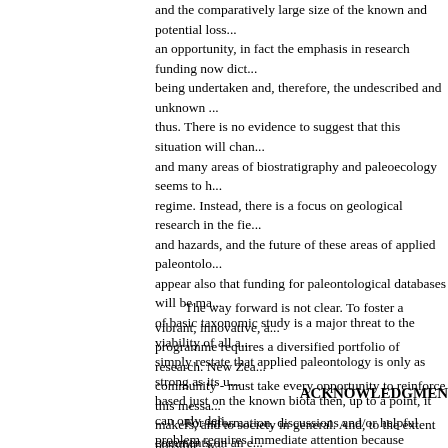and the comparatively large size of the known and potential loss... an opportunity, in fact the emphasis in research funding now dict... being undertaken and, therefore, the undescribed and unknown ... thus. There is no evidence to suggest that this situation will chan... and many areas of biostratigraphy and paleoecology seems to h... regime. Instead, there is a focus on geological research in the fie... and hazards, and the future of these areas of applied paleontolo... appear also that funding for paleontological databases will be ma... of basic taxonomic study is a major threat to the viability of all a... simply restate that applied paleontology is only as strong as its u... based just on the known biota then, up to a point, it can only deli... problem requires immediate attention because taxonomic expert... new generation of taxonomists - is disappearing now. Looking be... research, opportunities to use the New Zealand's unique paleon... understanding of fundamental geological and biological processe... standing, and to advance international collaborations, are very li...
The way forward is not clear. To foster a vibrant, innovative, a... programme requires a diversified portfolio of research. New Zea... community - must take every opportunity to reinforce this messa... makers, and to society in general. And, to the extent possible, w... own science. A first step is to vigorously promote basic paleontol... areas with perceived, medium-term societal or economic returns ... material - the evolution and (mass) extinction of strange animals ... development of the biosphere as we know it - has wide appeal a... engage this audience and we must be proactive and forceful.
ACKNOWLEDGMEN
For information, discussions and/or helpful comments on an e... Beu (GNS Science), Jack Grant-Mackie (University of Auckland...